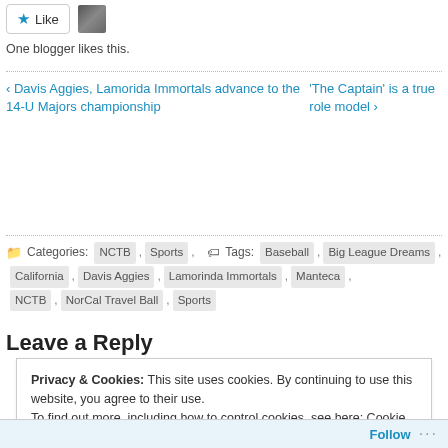Like | One blogger likes this.
‹ Davis Aggies, Lamorida Immortals advance to the 14-U Majors championship
'The Captain' is a true role model ›
Categories: NCTB , Sports , Tags: Baseball , Big League Dreams , California , Davis Aggies , Lamorinda Immortals , Manteca , NCTB , NorCal Travel Ball , Sports
Leave a Reply
Privacy & Cookies: This site uses cookies. By continuing to use this website, you agree to their use. To find out more, including how to control cookies, see here: Cookie Policy
Close and accept
Follow